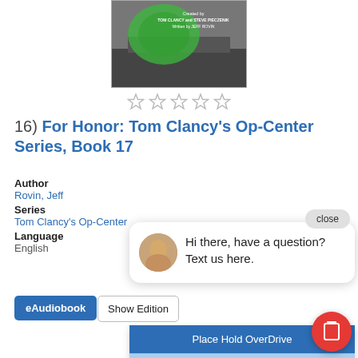[Figure (photo): Book cover for 'For Honor: Tom Clancy's Op-Center Series, Book 17' showing a naval ship with green overlay]
[Figure (other): Five empty star rating icons]
16)  For Honor: Tom Clancy's Op-Center Series, Book 17
Author
Rovin, Jeff
Series
Tom Clancy's Op-Center
Language
English
[Figure (screenshot): Chat popup with avatar photo and message: Hi there, have a question? Text us here. with a close button]
eAudiobook
Show Edition
Place Hold OverDrive
Preview Part 1
Preview From the book